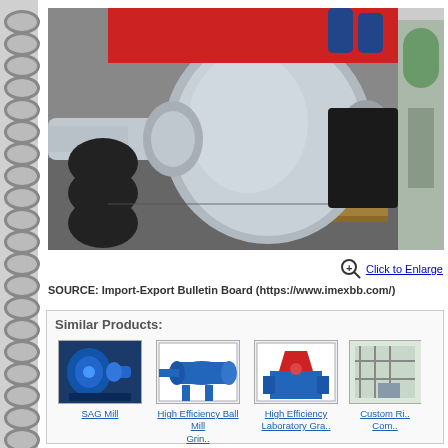[Figure (photo): Industrial mill drum/roller assembly (SAG mill shell or similar) in a factory setting, showing a large polished steel cylindrical drum with shaft, mounted on wooden pallets. Background shows factory equipment and a red roller. Spiral notebook binding visible on left edge.]
Click to Enlarge
SOURCE: Import-Export Bulletin Board (https://www.imexbb.com/)
Similar Products:
[Figure (photo): SAG Mill - blue/teal industrial ball mill machinery]
SAG Mill
[Figure (photo): High Efficiency Ball Mill Grin.. - blue industrial grinding mill]
High Efficiency Ball Mill Grin..
[Figure (photo): High Efficiency Laboratory Gra.. - small red/blue laboratory grinder]
High Efficiency Laboratory Gra..
[Figure (photo): Custom Ri.. Com.. - industrial machinery with scaffolding/structure]
Custom Ri.. Com..